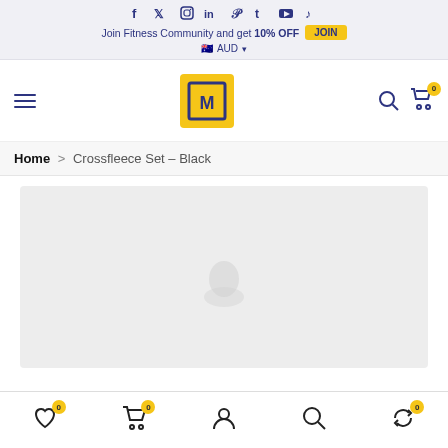Social icons: f, t (Twitter), Instagram, in (LinkedIn), Pinterest, Tumblr, YouTube, TikTok
Join Fitness Community and get 10% OFF  JOIN
AUD
[Figure (logo): CM logo in yellow square with dark blue border and letter M]
Home > Crossfleece Set – Black
[Figure (photo): Light grey product image area (loading/blank state)]
Bottom navigation: wishlist (0), cart (0), account, search, refresh (0)